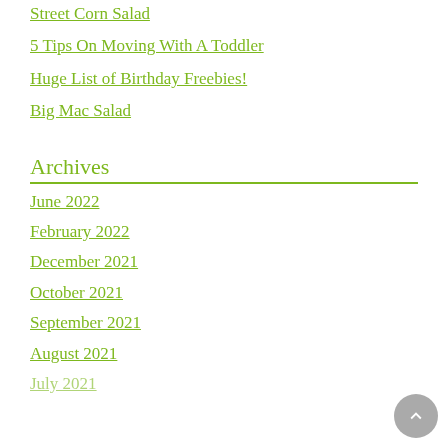Street Corn Salad
5 Tips On Moving With A Toddler
Huge List of Birthday Freebies!
Big Mac Salad
Archives
June 2022
February 2022
December 2021
October 2021
September 2021
August 2021
July 2021